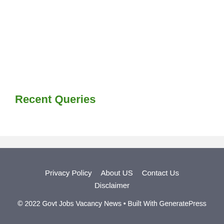Recent Queries
Privacy Policy   About US   Contact Us
Disclaimer
© 2022 Govt Jobs Vacancy News • Built With GeneratePress